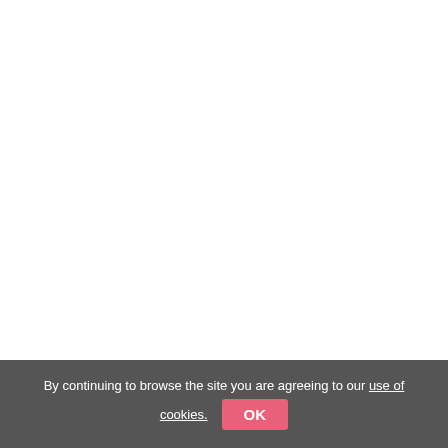Taiwan Job Opening
FACTORY WORKER MALE/FEMALE
PRODPECTIVE PRINCIPAL TAIWAN
OFWHiring.com
By continuing to browse the site you are agreeing to our use of cookies.